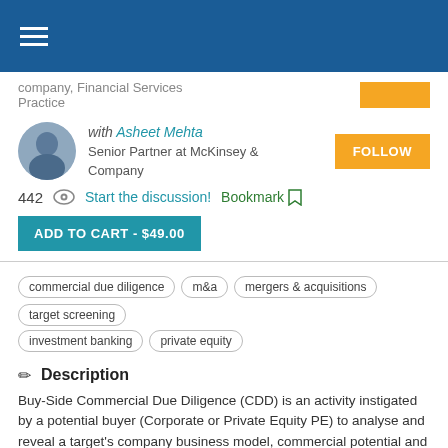Navigation header bar
company, Financial Services Practice
with Asheet Mehta
Senior Partner at McKinsey & Company
442  Start the discussion!  Bookmark
ADD TO CART - $49.00
commercial due diligence
m&a
mergers & acquisitions
target screening
investment banking
private equity
Description
Buy-Side Commercial Due Diligence (CDD) is an activity instigated by a potential buyer (Corporate or Private Equity PE) to analyse and reveal a target's company business model, commercial potential and synergies, during an M&A (Mergers and Acquisitions) operation. It is generally led and conducted by a Strategy Consulting Firm (e.g. BCG, McKinsey, Bain, Strategy&